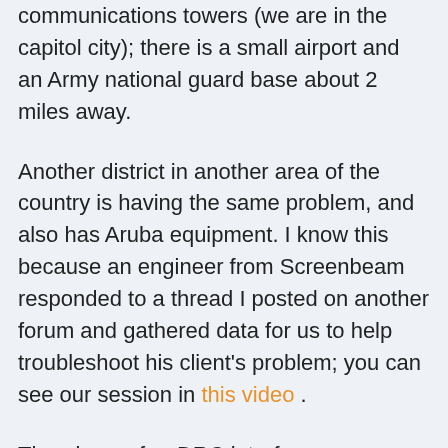communications towers (we are in the capitol city); there is a small airport and an Army national guard base about 2 miles away.
Another district in another area of the country is having the same problem, and also has Aruba equipment. I know this because an engineer from Screenbeam responded to a thread I posted on another forum and gathered data for us to help troubleshoot his client's problem; you can see our session in this video .
Theories so far: DRC interference; seen as rogue device; switch configuration in this